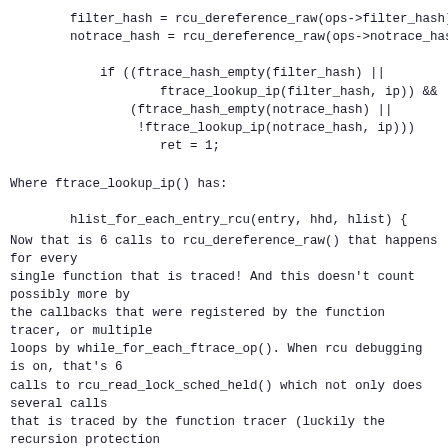filter_hash = rcu_dereference_raw(ops->filter_hash);
        notrace_hash = rcu_dereference_raw(ops->notrace_hash);

            if ((ftrace_hash_empty(filter_hash) ||
                    ftrace_lookup_ip(filter_hash, ip)) &&
                (ftrace_hash_empty(notrace_hash) ||
                 !ftrace_lookup_ip(notrace_hash, ip)))
                    ret = 1;
Where ftrace_lookup_ip() has:
hlist_for_each_entry_rcu(entry, hhd, hlist) {
Now that is 6 calls to rcu_dereference_raw() that happens for every
single function that is traced! And this doesn't count possibly more by
the callbacks that were registered by the function tracer, or multiple
loops by while_for_each_ftrace_op(). When rcu debugging is on, that's 6
calls to rcu_read_lock_sched_held() which not only does several calls
that is traced by the function tracer (luckily the recursion protection
catches those), but those calls also call preempt_disable/enable (that
also is traced by the function tracer). When rcu debugging is on, that's 6